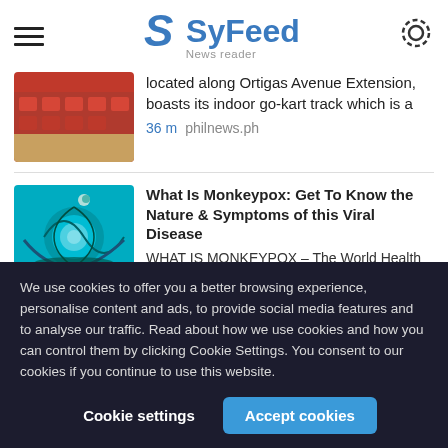SyFeed News reader
located along Ortigas Avenue Extension, boasts its indoor go-kart track which is a
36 m   philnews.ph
What Is Monkeypox: Get To Know the Nature & Symptoms of this Viral Disease
WHAT IS MONKEYPOX – The World Health Organization (WHO) declared this viral disease a global health emergency. The cases of monkeypox in several nations go on an
We use cookies to offer you a better browsing experience, personalise content and ads, to provide social media features and to analyse our traffic. Read about how we use cookies and how you can control them by clicking Cookie Settings. You consent to our cookies if you continue to use this website.
Cookie settings   Accept cookies